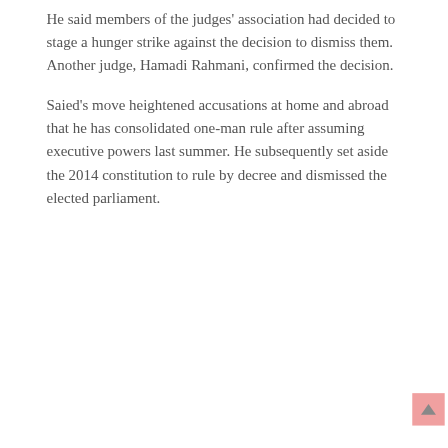He said members of the judges' association had decided to stage a hunger strike against the decision to dismiss them. Another judge, Hamadi Rahmani, confirmed the decision.
Saied's move heightened accusations at home and abroad that he has consolidated one-man rule after assuming executive powers last summer. He subsequently set aside the 2014 constitution to rule by decree and dismissed the elected parliament.